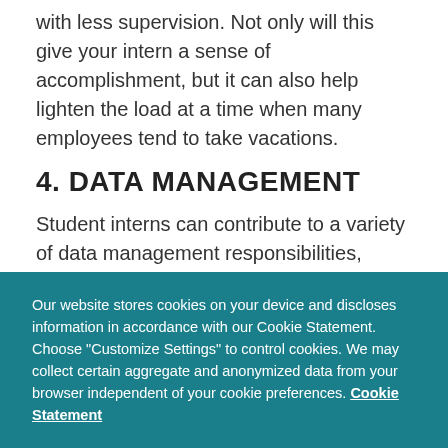with less supervision. Not only will this give your intern a sense of accomplishment, but it can also help lighten the load at a time when many employees tend to take vacations.
4. DATA MANAGEMENT
Student interns can contribute to a variety of data management responsibilities, including:
Recording water analysis results.
Our website stores cookies on your device and discloses information in accordance with our Cookie Statement. Choose "Customize Settings" to control cookies. We may collect certain aggregate and anonymized data from your browser independent of your cookie preferences. Cookie Statement